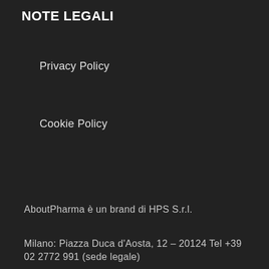NOTE LEGALI
Privacy Policy
Cookie Policy
AboutPharma è un brand di HPS S.r.l.
Milano: Piazza Duca d'Aosta, 12 – 20124 Tel +39 02 2772 991 (sede legale)